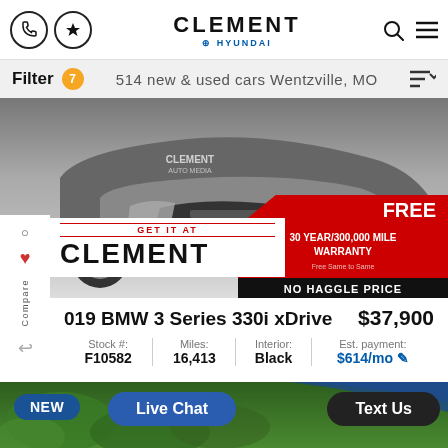Clement Hyundai — Filter 7 — 514 new & used cars Wentzville, MO
[Figure (photo): Front low-angle photo of a gray BMW 3 Series 330i xDrive on a concrete surface, with Clement Auto Media branding visible]
[Figure (infographic): Promotional overlay: FREE 30 YEAR/300,000 MILE WARRANTY — NO HAGGLE PRICE, red and black banner on right side of car image. GET IT AT CLEMENT logo overlay on left.]
019 BMW 3 Series 330i xDrive $37,900
| Stock # | Miles: | Interior: | Est. payment: |
| --- | --- | --- | --- |
| F10582 | 16,413 | Black | $614/mo |
[Figure (photo): Bottom strip showing green foliage background with NEW badge, Live Chat button, and Text Us button]